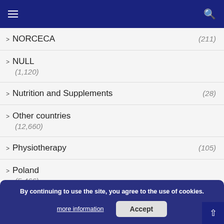Navigation bar with menu and search icons
NORCECA (211)
NULL (1,120)
Nutrition and Supplements (28)
Other countries (12,660)
Physiotherapy (105)
Poland (5,466)
RSS Collector (35)
Rumours (7…)
By continuing to use the site, you agree to the use of cookies. more information Accept